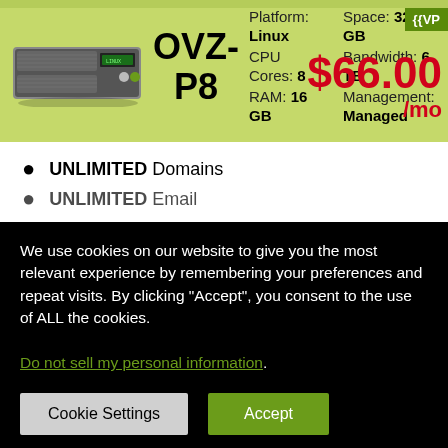[Figure (photo): Server rack unit hardware image]
OVZ-P8
Platform: Linux | Space: 320 GB | CPU Cores: 8 | Bandwidth: 6 TB | RAM: 16 GB | Management: Managed
$66.00 /mo
{{VP
UNLIMITED Domains
UNLIMITED Email
We use cookies on our website to give you the most relevant experience by remembering your preferences and repeat visits. By clicking “Accept”, you consent to the use of ALL the cookies.
Do not sell my personal information.
Cookie Settings
Accept